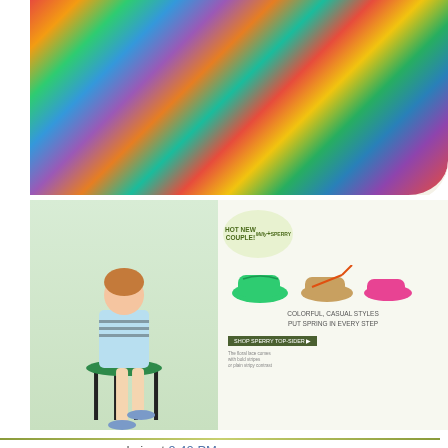[Figure (photo): Colorful multicolored striped/painted sneaker shoe top view with cream sole]
[Figure (photo): Sperry Top-Sider advertisement featuring Milly collaboration. Woman sitting on stool, colorful boat shoes displayed. Text: HOT NEW COUPLE! Milly + SPERRY TOP-SIDER. COLORFUL, CASUAL STYLES PUT SPRING IN EVERY STEP. SHOP SPERRY TOP-SIDER.]
admin at 9:40 PM
Online Store Builder Helps you Start Selling Online
With the advent of the internet, selling and shopping are not the Buying and selling goods or products online is popularly k eCommerce. Products and services are being sold o